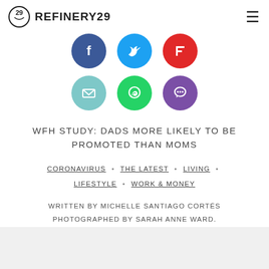REFINERY29
[Figure (infographic): Social sharing icons: Facebook (blue circle), Twitter (cyan circle), Flipboard (red circle), Email (teal circle), WhatsApp (green circle), Chat (purple circle)]
WFH STUDY: DADS MORE LIKELY TO BE PROMOTED THAN MOMS
CORONAVIRUS • THE LATEST • LIVING • LIFESTYLE • WORK & MONEY
WRITTEN BY MICHELLE SANTIAGO CORTÉS
PHOTOGRAPHED BY SARAH ANNE WARD.